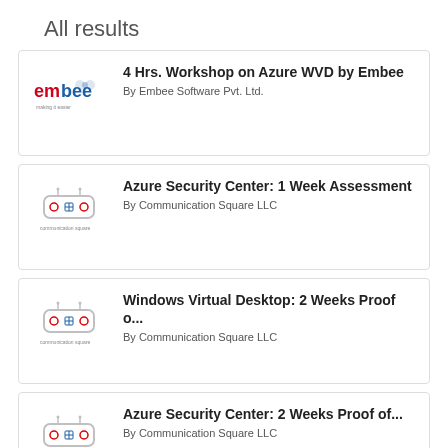All results
4 Hrs. Workshop on Azure WVD by Embee
By Embee Software Pvt. Ltd.
Azure Security Center: 1 Week Assessment
By Communication Square LLC
Windows Virtual Desktop: 2 Weeks Proof o...
By Communication Square LLC
Azure Security Center: 2 Weeks Proof of...
By Communication Square LLC